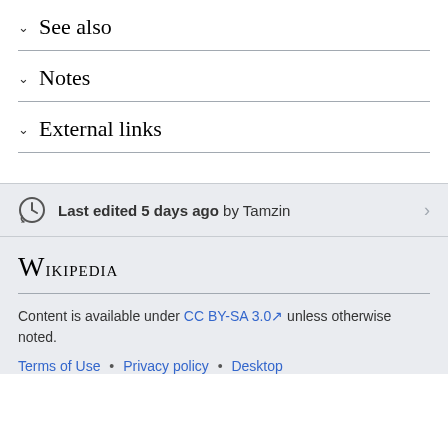See also
Notes
External links
Last edited 5 days ago by Tamzin
Wikipedia
Content is available under CC BY-SA 3.0 unless otherwise noted.
Terms of Use • Privacy policy • Desktop